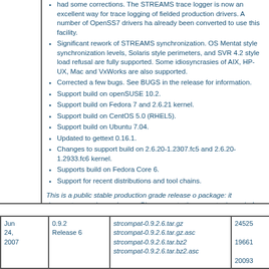had some corrections. The STREAMS trace logger is now an excellent way for trace logging of fielded production drivers. A number of OpenSS7 drivers have already been converted to use this facility.
Significant rework of STREAMS synchronization. OSF Mentat style synchronization levels, Solaris style perimeters, and SVR 4.2 style load refusal are fully supported. Some idiosyncrasies of AIX, HP-UX, Mac, and VxWorks are also supported.
Corrected a few bugs. See BUGS in the release for more information.
Support build on openSUSE 10.2.
Support build on Fedora 7 and 2.6.21 kernel.
Support build on CentOS 5.0 (RHEL5).
Support build on Ubuntu 7.04.
Updated to gettext 0.16.1.
Changes to support build on 2.6.20-1.2307.fc5 and 2.6.20-1.2933.fc6 kernel.
Supports build on Fedora Core 6.
Support for recent distributions and tool chains.
This is a public stable production grade release of this package: it deprecates previous releases. Please upgrade to the current release before reporting bugs.
| Date | Version | Files | Numbers |
| --- | --- | --- | --- |
| Jun 24, 2007 | 0.9.2 Release 6 | strcompat-0.9.2.6.tar.gz strcompat-0.9.2.6.tar.gz.asc strcompat-0.9.2.6.tar.bz2 strcompat-0.9.2.6.tar.bz2.asc | 24525 19661 20093 |